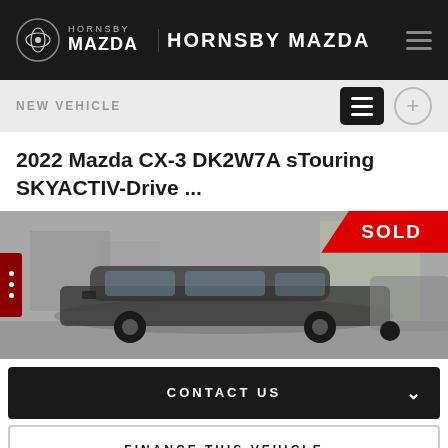HORNSBY MAZDA - HORNSBY MAZDA
NEW VEHICLE
2022 Mazda CX-3 DK2W7A sTouring SKYACTIV-Drive ...
[Figure (photo): Photo of a 2022 Mazda CX-3 vehicle with a red SOLD badge in the top right corner]
CONTACT US
FINANCE THIS VEHICLE